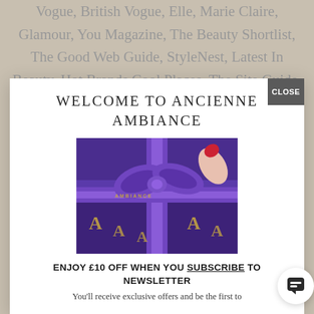Vogue, British Vogue, Elle, Marie Claire, Glamour, You Magazine, The Beauty Shortlist, The Good Web Guide, StyleNest, Latest In Beauty, Hot Brands Cool Places, The Site Guide, Sublime Magazine, Positive Luxury, SheerLuxe, Biteable Beauty, Natural Beauty Yearbook,
WELCOME TO ANCIENNE AMBIANCE
[Figure (photo): A purple gift box with purple satin ribbon tied in a bow, with gold 'AMBIANCE' text printed on the ribbon. A hand with red nail polish is visible holding the ribbon.]
ENJOY £10 OFF WHEN YOU SUBSCRIBE TO NEWSLETTER
You'll receive exclusive offers and be the first to